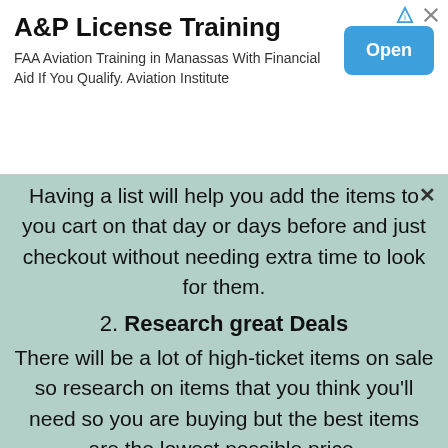[Figure (screenshot): Advertisement banner for A&P License Training showing title, subtitle, and Open button]
Having a list will help you add the items to your cart on that day or days before and just checkout without needing extra time to look for them.
2. Research great Deals
There will be a lot of high-ticket items on sale so research on items that you think you'll need so you are buying but the best items are the lowest possible price.
3. Stock up on prime day
You will want to stock up on any essential